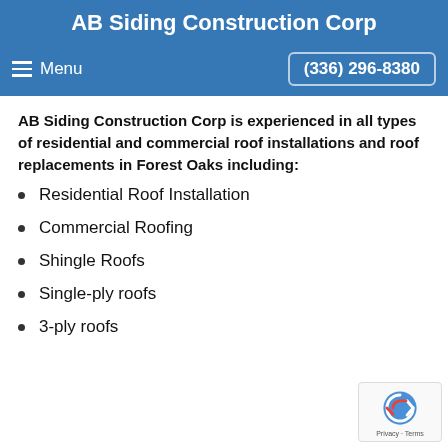AB Siding Construction Corp
Menu    (336) 296-8380
AB Siding Construction Corp is experienced in all types of residential and commercial roof installations and roof replacements in Forest Oaks including:
Residential Roof Installation
Commercial Roofing
Shingle Roofs
Single-ply roofs
3-ply roofs
[Figure (logo): reCAPTCHA badge with Privacy and Terms links]